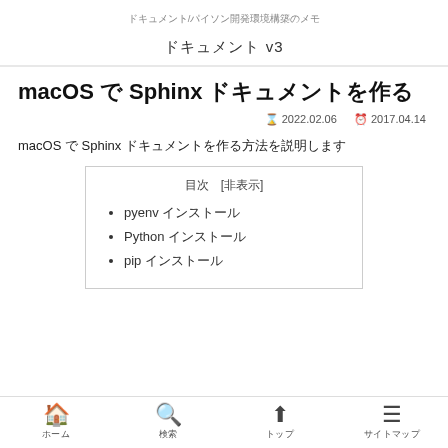ドキュメント/パイソン開発環境構築のメモ
ドキュメント v3
macOS で Sphinx ドキュメントを作る
🕐 2022.02.06  🕐 2017.04.14
macOS で Sphinx ドキュメントを作る方法を説明します
目次 [非表示]
pyenv インストール
Python インストール
pip インストール
ホーム  検索  トップ  サイトマップ